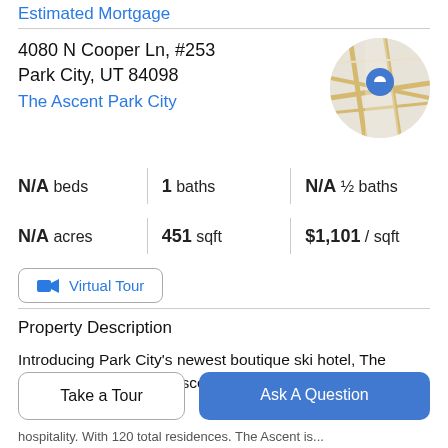Estimated Mortgage
4080 N Cooper Ln, #253
Park City, UT 84098
The Ascent Park City
[Figure (map): Circular map thumbnail showing street layout with a blue location pin marker in the center]
N/A beds | 1 baths | N/A ½ baths
N/A acres | 451 sqft | $1,101 / sqft
Virtual Tour
Property Description
Introducing Park City's newest boutique ski hotel, The Ascent Park City! The Ascent is proud to be among the
hospitality. With 120 total residences, The Ascent is...
Take a Tour
Ask A Question